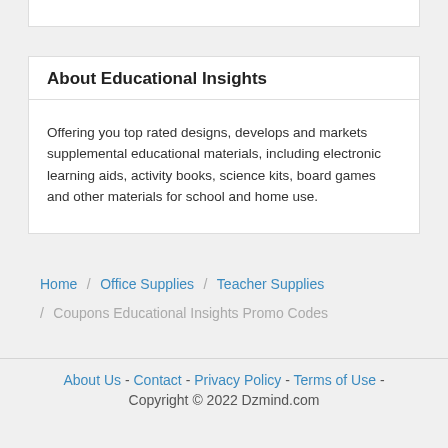About Educational Insights
Offering you top rated designs, develops and markets supplemental educational materials, including electronic learning aids, activity books, science kits, board games and other materials for school and home use.
Home / Office Supplies / Teacher Supplies / Coupons Educational Insights Promo Codes
About Us - Contact - Privacy Policy - Terms of Use - Copyright © 2022 Dzmind.com